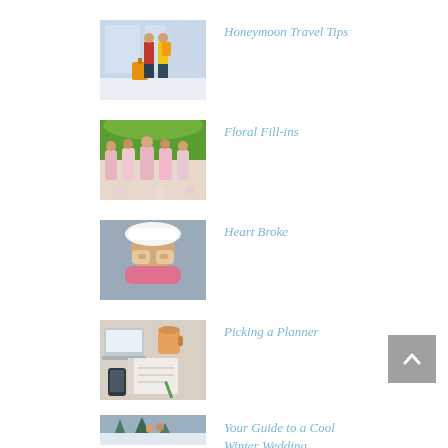[Figure (photo): Couple with luggage at airport, seen from behind]
Honeymoon Travel Tips
[Figure (photo): Bridesmaids in pink dresses among floral decorations]
Floral Fill-ins
[Figure (photo): Young woman in winter clothes covering her face playfully]
Heart Broke
[Figure (photo): Flat lay of laptop, notebook, coffee cup and pen for planning]
Picking a Planner
[Figure (photo): People in snowy winter forest wedding scene]
Your Guide to a Cool Winter Wedding